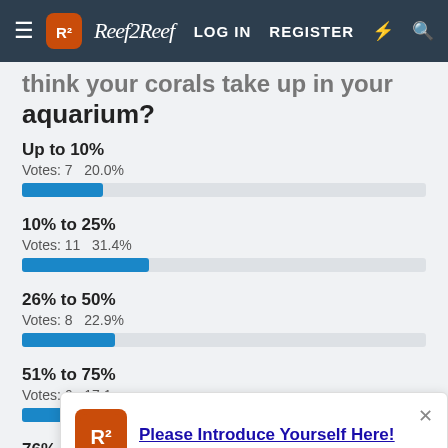Reef2Reef — LOG IN   REGISTER
think your corals take up in your aquarium?
Up to 10%
Votes: 7   20.0%
10% to 25%
Votes: 11   31.4%
26% to 50%
Votes: 8   22.9%
51% to 75%
Votes: 6   17.1
76% to 90%
Votes: 2   5.7%
Please Introduce Yourself Here!